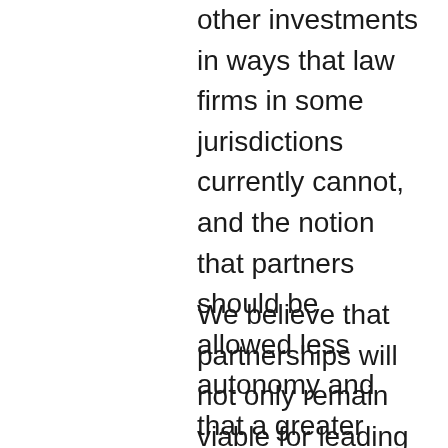other investments in ways that law firms in some jurisdictions currently cannot, and the notion that partners should be allowed less autonomy and that a greater separation should exist between the roles of shareholder and manager / leader and producer.
We believe that partnerships will not only remain viable for leading law firms in the future, but that a compelling argument can be made that